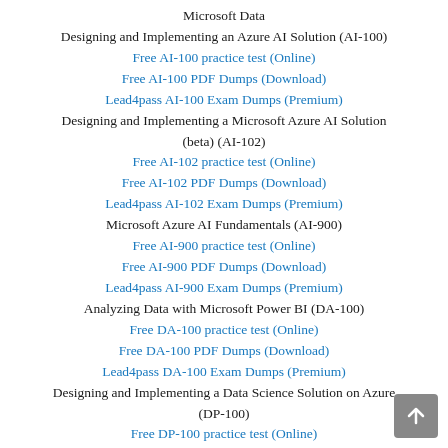Microsoft Data
Designing and Implementing an Azure AI Solution (AI-100)
Free AI-100 practice test (Online)
Free AI-100 PDF Dumps (Download)
Lead4pass AI-100 Exam Dumps (Premium)
Designing and Implementing a Microsoft Azure AI Solution (beta) (AI-102)
Free AI-102 practice test (Online)
Free AI-102 PDF Dumps (Download)
Lead4pass AI-102 Exam Dumps (Premium)
Microsoft Azure AI Fundamentals (AI-900)
Free AI-900 practice test (Online)
Free AI-900 PDF Dumps (Download)
Lead4pass AI-900 Exam Dumps (Premium)
Analyzing Data with Microsoft Power BI (DA-100)
Free DA-100 practice test (Online)
Free DA-100 PDF Dumps (Download)
Lead4pass DA-100 Exam Dumps (Premium)
Designing and Implementing a Data Science Solution on Azure (DP-100)
Free DP-100 practice test (Online)
Free DP-100 PDF Dumps (Download)